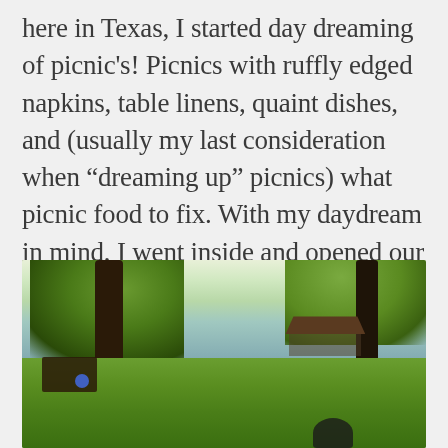here in Texas, I started day dreaming of picnic's! Picnics with ruffly edged napkins, table linens, quaint dishes, and (usually my last consideration when “dreaming up” picnics) what picnic food to fix. With my daydream in mind, I went inside and opened our linen cabinet that’s filled with all kinds of vintage “lovely’s.”
[Figure (photo): Outdoor lakeside scene with large trees, green grass lawn, a pavilion/gazebo near the water, a bench on the left, and a dark object in the lower right foreground.]